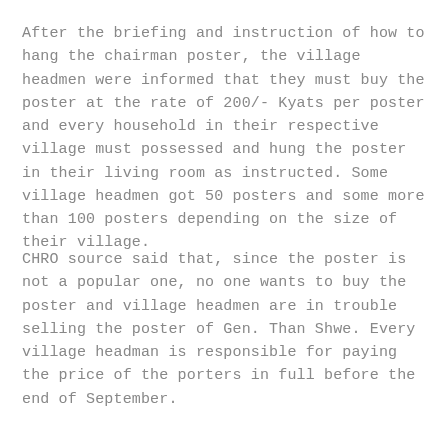After the briefing and instruction of how to hang the chairman poster, the village headmen were informed that they must buy the poster at the rate of 200/- Kyats per poster and every household in their respective village must possessed and hung the poster in their living room as instructed. Some village headmen got 50 posters and some more than 100 posters depending on the size of their village.
CHRO source said that, since the poster is not a popular one, no one wants to buy the poster and village headmen are in trouble selling the poster of Gen. Than Shwe. Every village headman is responsible for paying the price of the porters in full before the end of September.